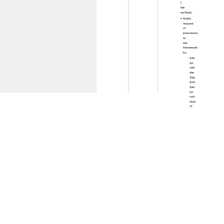( the setTask)
Notify request of executions to the framework by
Allo for sett the Site Eve han for noti requ of